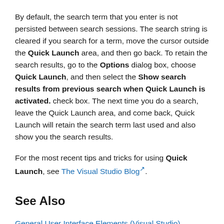By default, the search term that you enter is not persisted between search sessions. The search string is cleared if you search for a term, move the cursor outside the Quick Launch area, and then go back. To retain the search results, go to the Options dialog box, choose Quick Launch, and then select the Show search results from previous search when Quick Launch is activated. check box. The next time you do a search, leave the Quick Launch area, and come back, Quick Launch will retain the search term last used and also show you the search results.
For the most recent tips and tricks for using Quick Launch, see The Visual Studio Blog.
See Also
General User Interface Elements (Visual Studio)